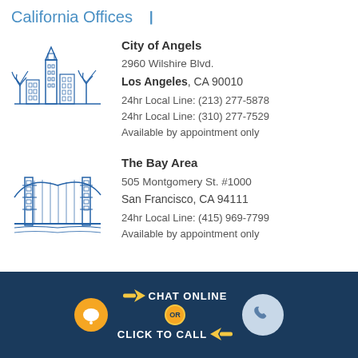California Offices
[Figure (illustration): Blue line drawing of Los Angeles City Hall with palm trees]
City of Angels
2960 Wilshire Blvd.
Los Angeles, CA 90010
24hr Local Line: (213) 277-5878
24hr Local Line: (310) 277-7529
Available by appointment only
[Figure (illustration): Blue line drawing of the Golden Gate Bridge]
The Bay Area
505 Montgomery St. #1000
San Francisco, CA 94111
24hr Local Line: (415) 969-7799
Available by appointment only
[Figure (infographic): Dark navy footer bar with chat bubble icon, CHAT ONLINE OR CLICK TO CALL text with yellow arrows, and phone icon circle]